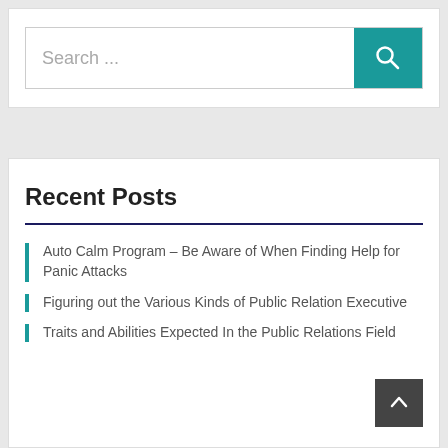[Figure (screenshot): Search bar with teal search button and magnifying glass icon]
Recent Posts
Auto Calm Program – Be Aware of When Finding Help for Panic Attacks
Figuring out the Various Kinds of Public Relation Executive
Traits and Abilities Expected In the Public Relations Field